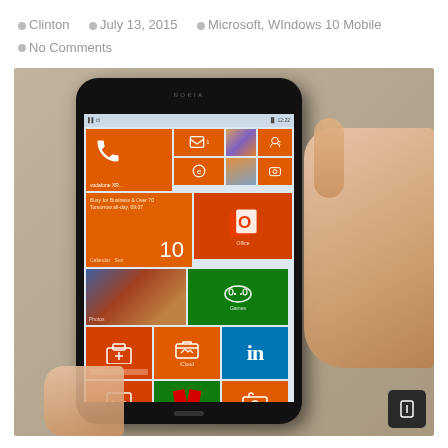Clinton  July 13, 2015  Microsoft, WIndows 10 Mobile  No Comments
[Figure (photo): A person holding a Nokia Windows Phone (Lumia) displaying the Windows 10 Mobile start screen with orange, green, and blue live tiles including Phone, Messaging, IE, Calendar, Office, Games, OneDrive, iCloud, LinkedIn, and Camera apps.]